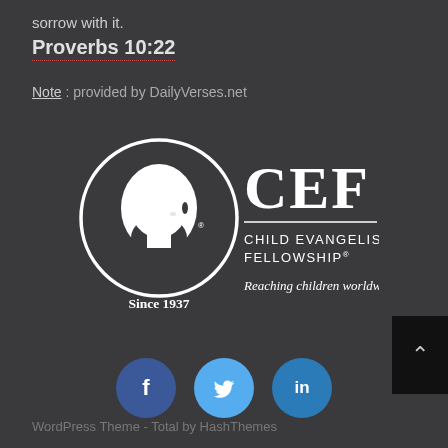sorrow with it.
Proverbs 10:22
Note : provided by DailyVerses.net
[Figure (logo): Child Evangelism Fellowship logo: white silhouette of a child's head in a circle with text 'Since 1937', next to large 'CEF' letters and 'CHILD EVANGELISM FELLOWSHIP® Reaching children worldwide®']
[Figure (infographic): Three social media icon buttons: Facebook (dark blue, 'f'), Twitter (light blue, bird/lowercase 't'), LinkedIn (teal-blue, 'in')]
WordPress Theme - Total by HashThemes